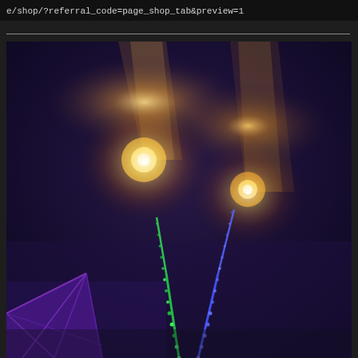e/shop/?referral_code=page_shop_tab&preview=1
[Figure (photo): Night-time outdoor event photo showing illuminated structures with bright stage lights creating beams through the dark sky. Two bright spotlights/torches are visible at the top of poles or structures, casting amber/orange light. In the lower portion, colorful LED-lit poles or arms extend upward in green and blue/purple colors, forming a V shape. On the lower left, a geometric tent or pavilion structure is lit in purple/blue.]